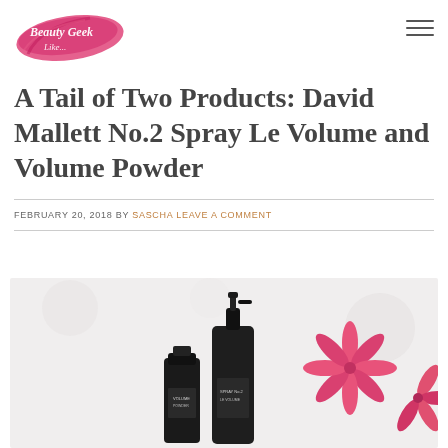[Figure (logo): Beauty Geek Like... blog logo with pink brush stroke and script text]
[Figure (other): Hamburger/menu icon with three horizontal lines]
A Tail of Two Products: David Mallett No.2 Spray Le Volume and Volume Powder
FEBRUARY 20, 2018 BY SASCHA LEAVE A COMMENT
[Figure (photo): Product photo showing two dark/black bottles of David Mallett No.2 Spray Le Volume products on a light background with pink flowers]